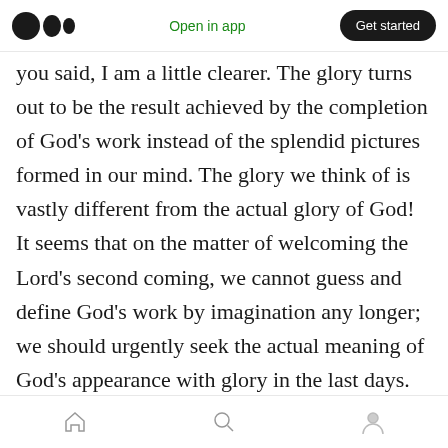Medium logo | Open in app | Get started
you said, I am a little clearer. The glory turns out to be the result achieved by the completion of God's work instead of the splendid pictures formed in our mind. The glory we think of is vastly different from the actual glory of God! It seems that on the matter of welcoming the Lord's second coming, we cannot guess and define God's work by imagination any longer; we should urgently seek the actual meaning of God's appearance with glory in the last days. Otherwise, if we still keep looking up to the clouds in the sky, the consequences will be unimaginable: We won't even know we are
Home | Search | Profile